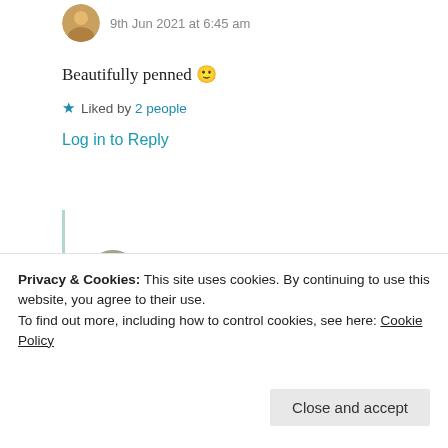9th Jun 2021 at 6:45 am
Beautifully penned 🙂
★ Liked by 2 people
Log in to Reply
Suma Reddy
9th Jun 2021 at 11:09 am
Privacy & Cookies: This site uses cookies. By continuing to use this website, you agree to their use. To find out more, including how to control cookies, see here: Cookie Policy
Close and accept